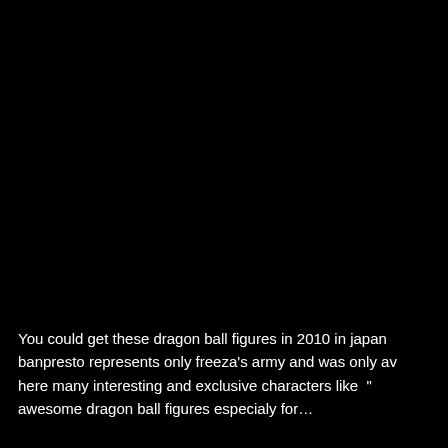You could get these dragon ball figures in 2010 in japan banpresto represents only freeza's army and was only a here many interesting and exclusive characters like " awesome dragon ball figures especialy for…